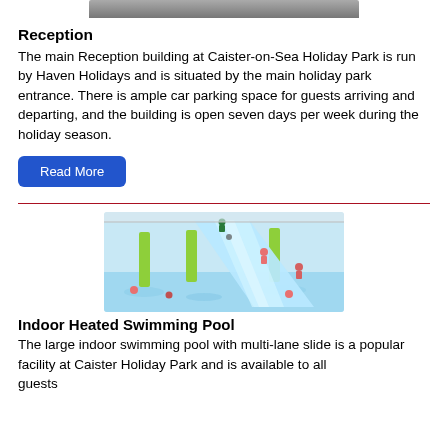[Figure (photo): Partial top image of a building or outdoor scene at Caister-on-Sea Holiday Park (cropped, only bottom edge visible)]
Reception
The main Reception building at Caister-on-Sea Holiday Park is run by Haven Holidays and is situated by the main holiday park entrance. There is ample car parking space for guests arriving and departing, and the building is open seven days per week during the holiday season.
Read More
[Figure (photo): Indoor heated swimming pool with a multi-lane blue water slide, children swimming and sliding, green pillars visible, indoor facility with large windows]
Indoor Heated Swimming Pool
The large indoor swimming pool with multi-lane slide is a popular facility at Caister Holiday Park and is available to all guests